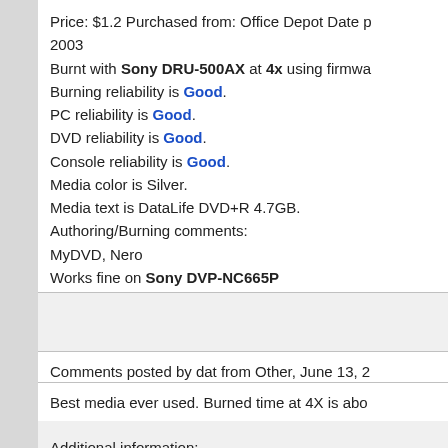Price: $1.2 Purchased from: Office Depot Date p 2003 Burnt with Sony DRU-500AX at 4x using firmwa Burning reliability is Good. PC reliability is Good. DVD reliability is Good. Console reliability is Good. Media color is Silver. Media text is DataLife DVD+R 4.7GB. Authoring/Burning comments: MyDVD, Nero Works fine on Sony DVP-NC665P
Comments posted by dat from Other, June 13, 2
Best media ever used. Burned time at 4X is abo
Additional information: